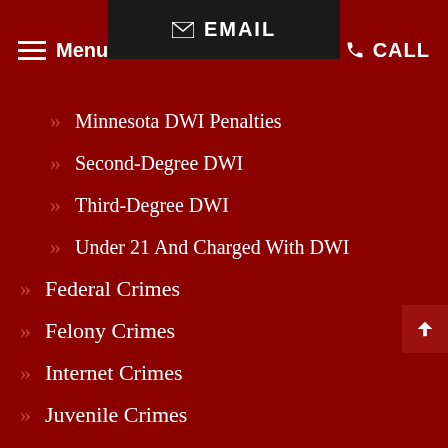Menu  EMAIL  CALL
Minnesota DWI Penalties
Second-Degree DWI
Third-Degree DWI
Under 21 And Charged With DWI
Federal Crimes
Felony Crimes
Internet Crimes
Juvenile Crimes
Misdemeanor Crimes
Precharge Representation
Probation Violations
Sex Crimes